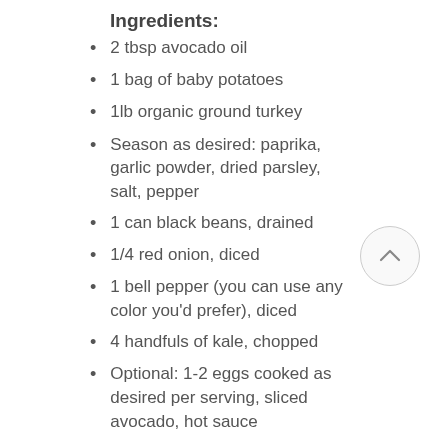Ingredients:
2 tbsp avocado oil
1 bag of baby potatoes
1lb organic ground turkey
Season as desired: paprika, garlic powder, dried parsley, salt, pepper
1 can black beans, drained
1/4 red onion, diced
1 bell pepper (you can use any color you'd prefer), diced
4 handfuls of kale, chopped
Optional: 1-2 eggs cooked as desired per serving, sliced avocado, hot sauce